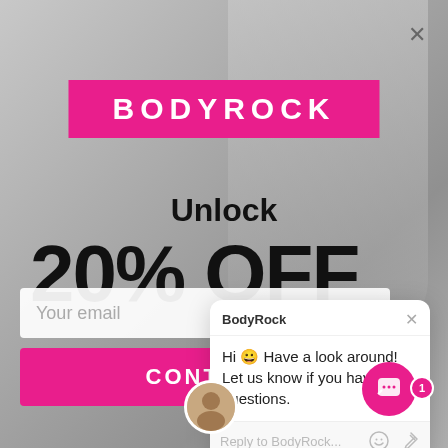[Figure (screenshot): Blurred fitness background with a blonde woman holding workout equipment]
BODYROCK
Unlock
20% OFF
Your email
CONTINUE
[Figure (screenshot): Chat popup overlay from BodyRock with message: Hi 😀 Have a look around! Let us know if you have any questions. Reply input field at bottom.]
BodyRock
Hi 😀 Have a look around! Let us know if you have any questions.
Reply to BodyRock...